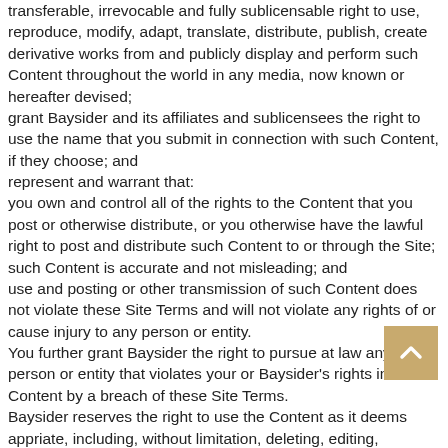transferable, irrevocable and fully sublicensable right to use, reproduce, modify, adapt, translate, distribute, publish, create derivative works from and publicly display and perform such Content throughout the world in any media, now known or hereafter devised; grant Baysider and its affiliates and sublicensees the right to use the name that you submit in connection with such Content, if they choose; and represent and warrant that: you own and control all of the rights to the Content that you post or otherwise distribute, or you otherwise have the lawful right to post and distribute such Content to or through the Site; such Content is accurate and not misleading; and use and posting or other transmission of such Content does not violate these Site Terms and will not violate any rights of or cause injury to any person or entity. You further grant Baysider the right to pursue at law any person or entity that violates your or Baysider's rights in the Content by a breach of these Site Terms. Baysider reserves the right to use the Content as it deems appropriate, including, without limitation, deleting, editing, modifying, rejecting, or refusing to post it. Baysider is under no obligation to offer you any payment for Content that you submit or the opportunity to edit, delete o